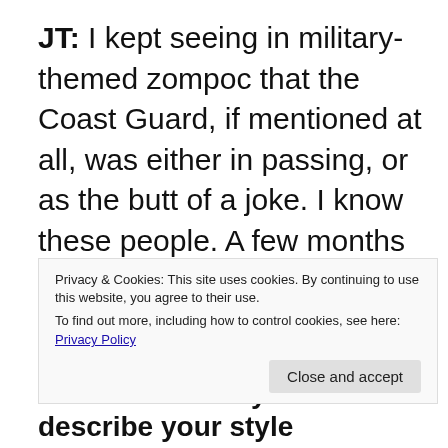JT: I kept seeing in military-themed zompoc that the Coast Guard, if mentioned at all, was either in passing, or as the butt of a joke. I know these people. A few months back, they had a guy jump onto the back of a drug-smuggling mini-sub and knock. No lie. Google it. Those are exactly the kind of people I want watching my
Privacy & Cookies: This site uses cookies. By continuing to use this website, you agree to their use. To find out more, including how to control cookies, see here: Privacy Policy
Close and accept
GS: How would you describe your style